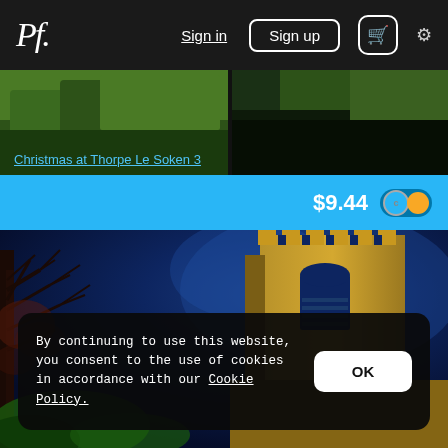Pf. | Sign in | Sign up | cart | settings
[Figure (photo): Top banner image showing green foliage/trees with dark tones, split view]
Christmas at Thorpe Le Soken 3
$9.44
[Figure (photo): Night photograph of an illuminated stone church tower against a deep blue sky, with bare tree branches visible on the left side]
By continuing to use this website, you consent to the use of cookies in accordance with our Cookie Policy.
OK